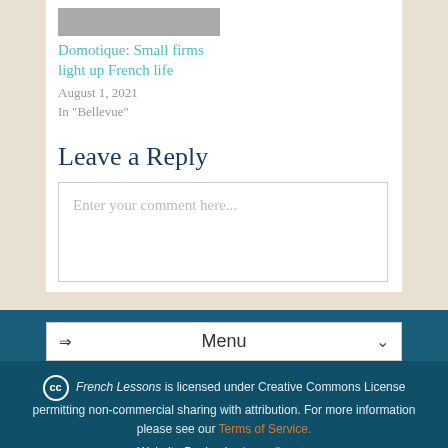Domotique: Small firms light up French life
August 1, 2021
In "Bellevue"
Leave a Reply
Enter your comment here...
⇒ Menu
French Lessons is licensed under Creative Commons License permitting non-commercial sharing with attribution. For more information please see our Terms of Service. Website Design by Avery Swartz